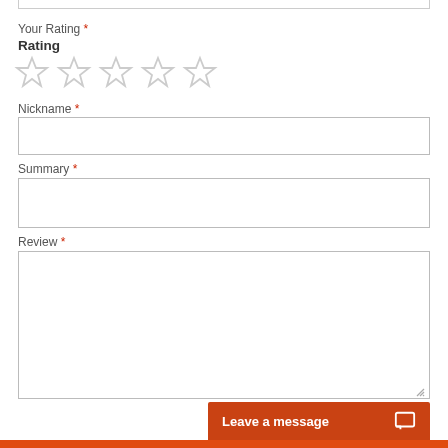Your Rating *
Rating
[Figure (illustration): Five empty star rating icons in a row, outlined in light gray]
Nickname *
[Figure (screenshot): Empty text input box for Nickname]
Summary *
[Figure (screenshot): Empty text input box for Summary]
Review *
[Figure (screenshot): Empty textarea for Review with resize handle]
Leave a message